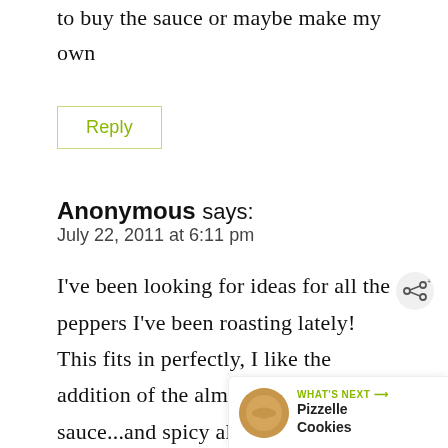to buy the sauce or maybe make my own
Reply
Anonymous says:
July 22, 2011 at 6:11 pm
I've been looking for ideas for all the peppers I've been roasting lately! This fits in perfectly, I like the addition of the almonds in the sauce...and spicy always good for me!
[Figure (other): What's Next widget showing Pizzelle Cookies with a circular food photo and share icon]